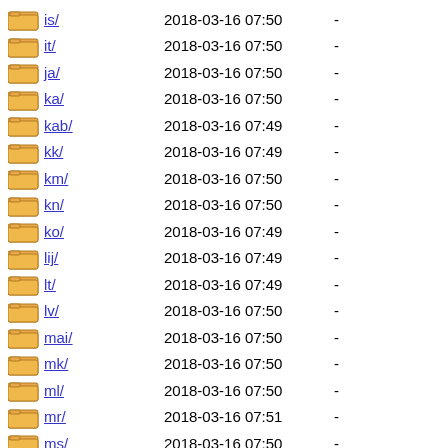is/ 2018-03-16 07:50 -
it/ 2018-03-16 07:50 -
ja/ 2018-03-16 07:50 -
ka/ 2018-03-16 07:50 -
kab/ 2018-03-16 07:49 -
kk/ 2018-03-16 07:49 -
km/ 2018-03-16 07:50 -
kn/ 2018-03-16 07:50 -
ko/ 2018-03-16 07:49 -
lij/ 2018-03-16 07:49 -
lt/ 2018-03-16 07:49 -
lv/ 2018-03-16 07:50 -
mai/ 2018-03-16 07:50 -
mk/ 2018-03-16 07:50 -
ml/ 2018-03-16 07:50 -
mr/ 2018-03-16 07:51 -
ms/ 2018-03-16 07:50 -